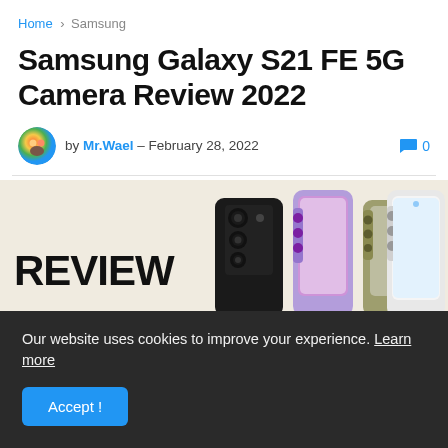Home > Samsung
Samsung Galaxy S21 FE 5G Camera Review 2022
by Mr.Wael – February 28, 2022   0
[Figure (photo): Hero image showing multiple Samsung Galaxy S21 FE 5G phones in various colors (black, purple, green, white) arranged side by side, with 'REVIEW' text on the left and 'CAMERA' text at the bottom]
Our website uses cookies to improve your experience. Learn more

Accept!